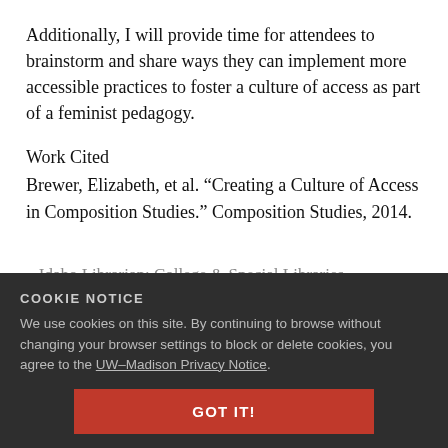Additionally, I will provide time for attendees to brainstorm and share ways they can implement more accessible practices to foster a culture of access as part of a feminist pedagogy.
Work Cited
Brewer, Elizabeth, et al. “Creating a Culture of Access in Composition Studies.” Composition Studies, 2014.
COOKIE NOTICE
We use cookies on this site. By continuing to browse without changing your browser settings to block or delete cookies, you agree to the UW–Madison Privacy Notice.